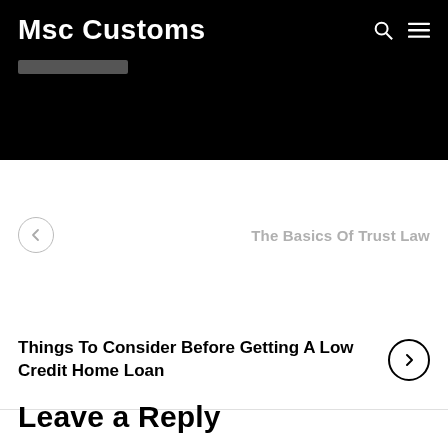Msc Customs
The Basics Of Trust Law
Things To Consider Before Getting A Low Credit Home Loan
Leave a Reply